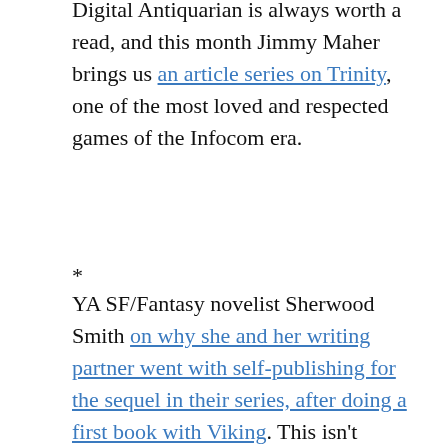Digital Antiquarian is always worth a read, and this month Jimmy Maher brings us an article series on Trinity, one of the most loved and respected games of the Infocom era.
*
YA SF/Fantasy novelist Sherwood Smith on why she and her writing partner went with self-publishing for the sequel in their series, after doing a first book with Viking. This isn't specifically games or IF-related, but I found it interesting because I think the IF world could benefit from more people in the role of editor. On the other hand, it's clear from this and similar accounts that the access to editing isn't all rosy even in traditional publishing models